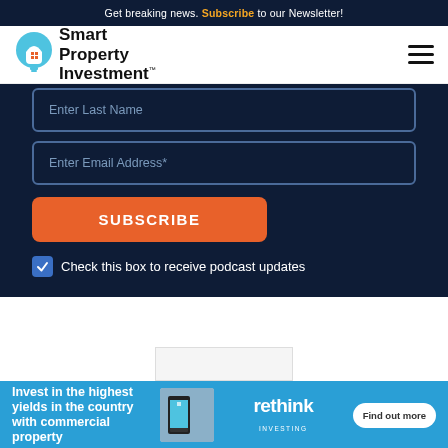Get breaking news. Subscribe to our Newsletter!
[Figure (logo): Smart Property Investment logo with lightbulb icon]
Enter Last Name
Enter Email Address*
SUBSCRIBE
Check this box to receive podcast updates
[Figure (infographic): Advertisement: Invest in the highest yields in the country with commercial property - Rethink Investing - Find out more]